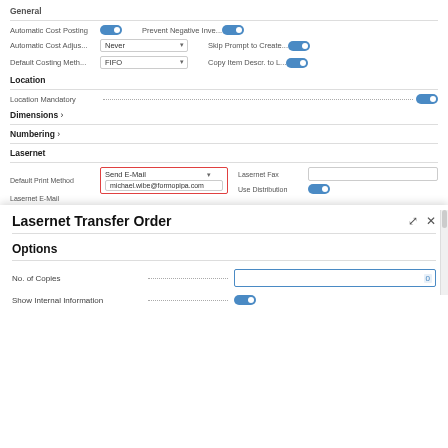General
Automatic Cost Posting [toggle on]
Prevent Negative Inve... [toggle on]
Automatic Cost Adjus... Never
Skip Prompt to Create... [toggle on]
Default Costing Meth... FIFO
Copy Item Descr. to L... [toggle on]
Location
Location Mandatory [toggle on]
Dimensions >
Numbering >
Lasernet
Default Print Method: Send E-Mail
Lasernet E-Mail: michael.wibe@formopipa.com
Lasernet Fax:
Use Distribution [toggle on]
Distribution Settings >
Lasernet Transfer Order
Options
No. of Copies
Show Internal Information [toggle on]